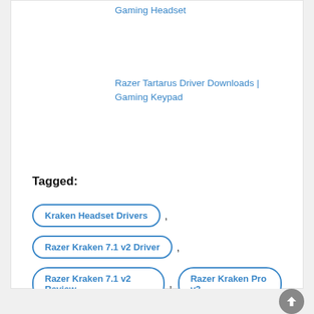Gaming Headset
Razer Tartarus Driver Downloads | Gaming Keypad
Tagged:
Kraken Headset Drivers
Razer Kraken 7.1 v2 Driver
Razer Kraken 7.1 v2 Review
Razer Kraken Pro v2